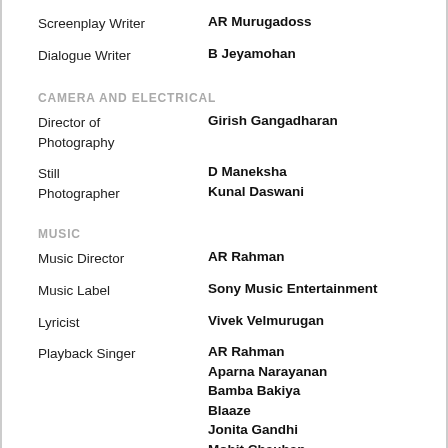Screenplay Writer: AR Murugadoss
Dialogue Writer: B Jeyamohan
CAMERA AND ELECTRICAL
Director of Photography: Girish Gangadharan
Still Photographer: D Maneksha, Kunal Daswani
MUSIC
Music Director: AR Rahman
Music Label: Sony Music Entertainment
Lyricist: Vivek Velmurugan
Playback Singer: AR Rahman, Aparna Narayanan, Bamba Bakiya, Blaaze, Jonita Gandhi, Mohit Chauhan, Nakul Abhyankar